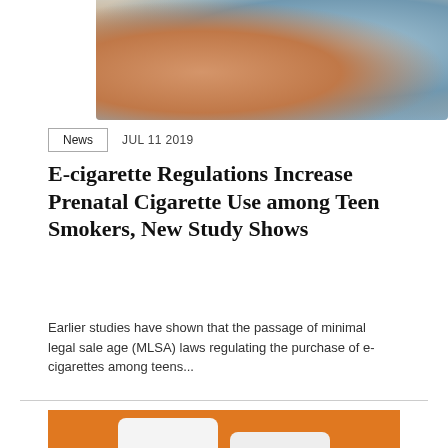[Figure (photo): Woman holding an e-cigarette or vaping device outdoors, seen from behind/side]
News   JUL 11 2019
E-cigarette Regulations Increase Prenatal Cigarette Use among Teen Smokers, New Study Shows
Earlier studies have shown that the passage of minimal legal sale age (MLSA) laws regulating the purchase of e-cigarettes among teens...
[Figure (photo): Two open books on an orange background, partially visible at bottom of page]